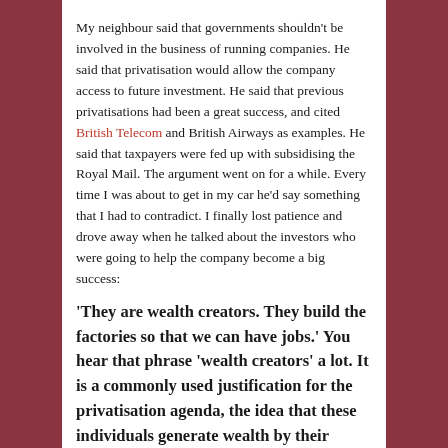My neighbour said that governments shouldn't be involved in the business of running companies. He said that privatisation would allow the company access to future investment. He said that previous privatisations had been a great success, and cited British Telecom and British Airways as examples. He said that taxpayers were fed up with subsidising the Royal Mail. The argument went on for a while. Every time I was about to get in my car he'd say something that I had to contradict. I finally lost patience and drove away when he talked about the investors who were going to help the company become a big success:
'They are wealth creators. They build the factories so that we can have jobs.' You hear that phrase 'wealth creators' a lot. It is a commonly used justification for the privatisation agenda, the idea that these individuals generate wealth by their investment. They are the 'wealth creators'